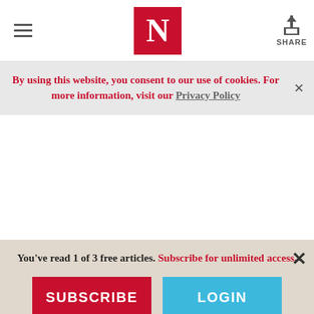Newsweek navigation with hamburger menu, N logo, and Share button
By using this website, you consent to our use of cookies. For more information, visit our Privacy Policy
You've read 1 of 3 free articles. Subscribe for unlimited access.
SUBSCRIBE
LOGIN
Click here for more information.